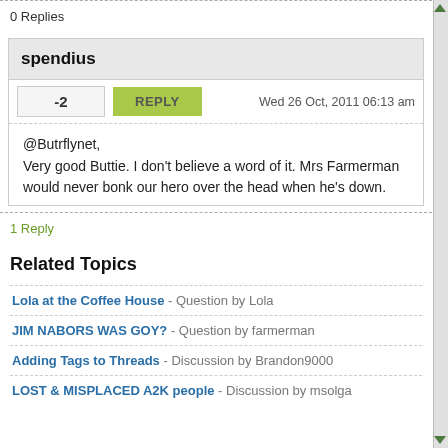0 Replies
spendius
-2   REPLY   Wed 26 Oct, 2011 06:13 am
@Butrflynet,
Very good Buttie. I don't believe a word of it. Mrs Farmerman would never bonk our hero over the head when he's down.
1 Reply
Related Topics
Lola at the Coffee House - Question by Lola
JIM NABORS WAS GOY? - Question by farmerman
Adding Tags to Threads - Discussion by Brandon9000
LOST & MISPLACED A2K people - Discussion by msolga